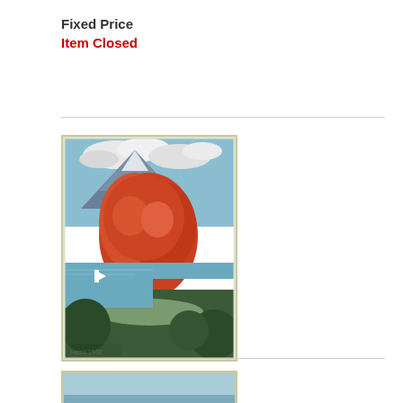Fixed Price
Item Closed
[Figure (illustration): Japanese woodblock print of Nikko Chuzenji Lake with red autumn tree in foreground, mountain in background, water and sailboat visible]
Nikko Chuzenji Lake, 1930
Hasui (1883 - 1957)
Fixed Price
Item Closed
[Figure (illustration): Partial view of another Japanese woodblock print, cropped at bottom of page]